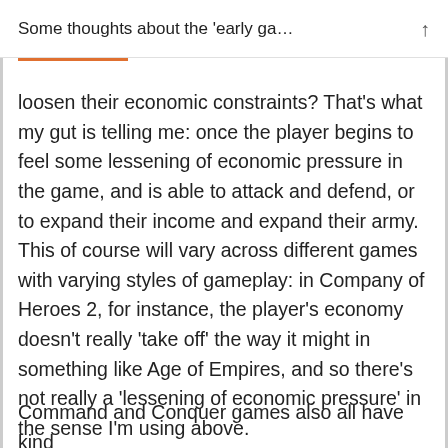Some thoughts about the 'early ga...
loosen their economic constraints? That's what my gut is telling me: once the player begins to feel some lessening of economic pressure in the game, and is able to attack and defend, or to expand their income and expand their army. This of course will vary across different games with varying styles of gameplay: in Company of Heroes 2, for instance, the player's economy doesn't really 'take off' the way it might in something like Age of Empires, and so there's not really a 'lessening of economic pressure' in the sense I'm using above.
Command and Conquer games also all have kind